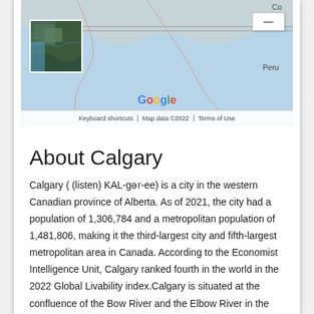[Figure (map): Google Maps screenshot showing a geographic region with satellite thumbnail in top-left corner, Google logo in center, zoom minus button on right, labels 'Co' and 'Peru', and map footer with 'Keyboard shortcuts | Map data ©2022 | Terms of Use']
About Calgary
Calgary ( (listen) KAL-gər-ee) is a city in the western Canadian province of Alberta. As of 2021, the city had a population of 1,306,784 and a metropolitan population of 1,481,806, making it the third-largest city and fifth-largest metropolitan area in Canada. According to the Economist Intelligence Unit, Calgary ranked fourth in the world in the 2022 Global Livability index.Calgary is situated at the confluence of the Bow River and the Elbow River in the south